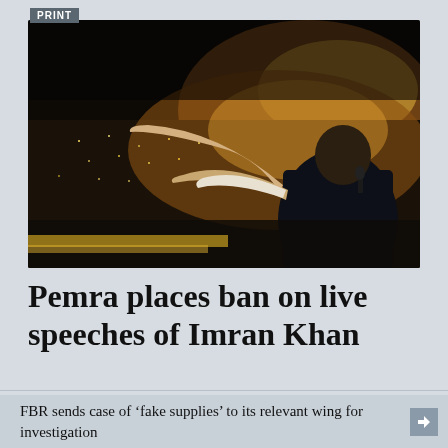PRINT
[Figure (photo): A man in a dark vest seen from behind with arms outstretched addressing a massive nighttime crowd with bright lights in the background.]
Pemra places ban on live speeches of Imran Khan
FBR sends case of ‘fake supplies’ to its relevant wing for investigation